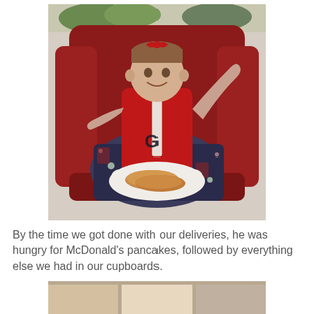[Figure (photo): A young boy wearing a red zip-up hoodie sitting in a large red armchair or couch, with a patterned blanket on his lap. He is holding up his hands and smiling. On his lap is a white foam plate with two pancakes on it.]
By the time we got done with our deliveries, he was hungry for McDonald's pancakes, followed by everything else we had in our cupboards.
[Figure (photo): Partially visible photo at the bottom of the page, cropped.]